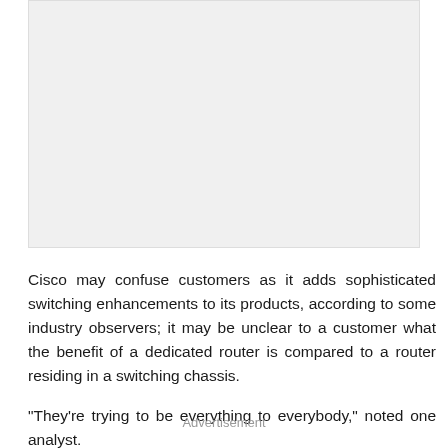[Figure (other): Image placeholder area, light gray background]
Cisco may confuse customers as it adds sophisticated switching enhancements to its products, according to some industry observers; it may be unclear to a customer what the benefit of a dedicated router is compared to a router residing in a switching chassis.
"They're trying to be everything to everybody," noted one analyst.
Advertisement